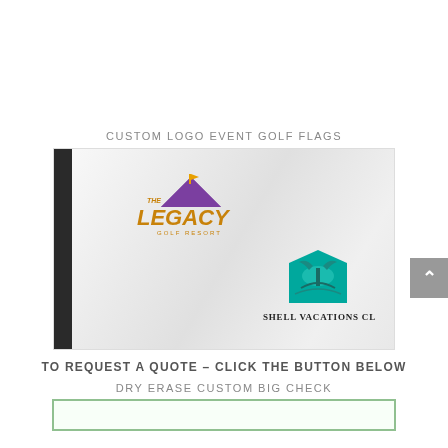CUSTOM LOGO EVENT GOLF FLAGS
[Figure (photo): A white golf flag with a black vertical bar on the left side. The flag features 'The Legacy Golf Resort' logo (purple mountain silhouette with gold text) on the upper left portion, and 'Shell Vacations Club' logo (teal house/palm tree icon with text) on the lower right portion.]
TO REQUEST A QUOTE – CLICK THE BUTTON BELOW
DRY ERASE CUSTOM BIG CHECK
[Figure (photo): Bottom edge of a dry erase custom big check product image, partially visible with a green border.]